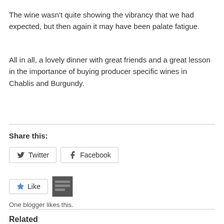The wine wasn't quite showing the vibrancy that we had expected, but then again it may have been palate fatigue.
All in all, a lovely dinner with great friends and a great lesson in the importance of buying producer specific wines in Chablis and Burgundy.
Share this:
Twitter  Facebook
Like  [thumbnail]  One blogger likes this.
Related
Judgement at Barberian's, Tuesday, February 7, 2012